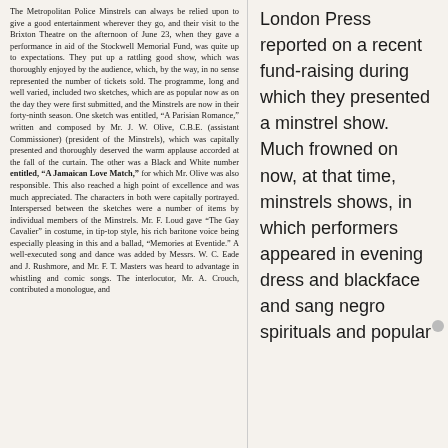The Metropolitan Police Minstrels can always be relied upon to give a good entertainment wherever they go, and their visit to the Brixton Theatre on the afternoon of June 23, when they gave a performance in aid of the Stockwell Memorial Fund, was quite up to expectations. They put up a rattling good show, which was thoroughly enjoyed by the audience, which, by the way, in no sense represented the number of tickets sold. The programme, long and well varied, included two sketches, which are as popular now as on the day they were first submitted, and the Minstrels are now in their forty-ninth season. One sketch was entitled, "A Parisian Romance," written and composed by Mr. J. W. Olive, C.B.E. (assistant Commissioner) (president of the Minstrels), which was capitally presented and thoroughly deserved the warm applause accorded at the fall of the curtain. The other was a Black and White number entitled, "A Jamaican Love Match," for which Mr. Olive was also responsible. This also reached a high point of excellence and was much appreciated. The characters in both were capitally portrayed. Interspersed between the sketches were a number of items by individual members of the Minstrels. Mr. F. Loud gave "The Gay Cavalier" in costume, in tip-top style, his rich baritone voice being especially pleasing in this and a ballad, "Memories at Eventide." A well-executed song and dance was added by Messrs. W. C. Eade and J. Rushmore, and Mr. F. T. Masters was heard to advantage in whistling and comic songs. The interlocutor, Mr. A. Crouch, contributed a monologue, and
London Press reported on a recent fund-raising during which they presented a minstrel show. Much frowned on now, at that time, minstrels shows, in which performers appeared in evening dress and blackface and sang negro spirituals and popular